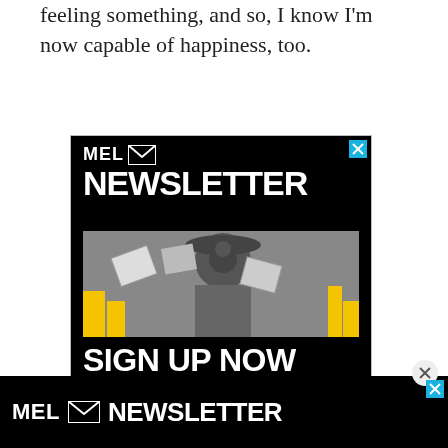feeling something, and so, I know I'm now capable of happiness, too.
[Figure (infographic): MEL Newsletter advertisement with black background, large white NEWSLETTER text, black and white photo of a person surrounded by papers and yellow elements, and white SIGN UP NOW text at the bottom. Blue X close button in top right corner.]
But what helped me the most was the general accepting nature of the people there. If you're an inc... thi...
[Figure (infographic): MEL Newsletter bottom banner advertisement on black background with MEL logo and NEWSLETTER text. Has a cyan/blue X close button. Partially overlaps the article text.]